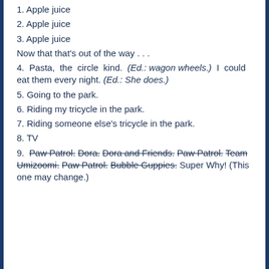1. Apple juice
2. Apple juice
3. Apple juice
Now that that's out of the way . . .
4. Pasta, the circle kind. (Ed.: wagon wheels.) I could eat them every night. (Ed.: She does.)
5. Going to the park.
6. Riding my tricycle in the park.
7. Riding someone else's tricycle in the park.
8. TV
9. Paw Patrol. Dora. Dora and Friends. Paw Patrol. Team Umizoomi. Paw Patrol. Bubble Guppies. Super Why! (This one may change.)